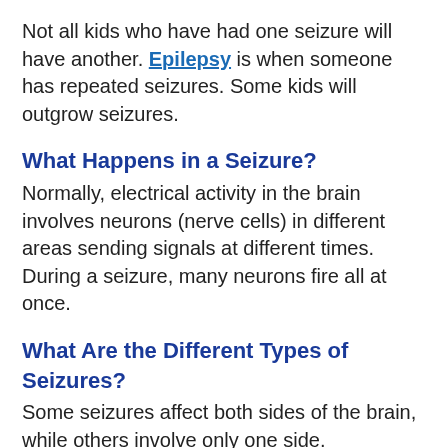Not all kids who have had one seizure will have another. Epilepsy is when someone has repeated seizures. Some kids will outgrow seizures.
What Happens in a Seizure?
Normally, electrical activity in the brain involves neurons (nerve cells) in different areas sending signals at different times. During a seizure, many neurons fire all at once.
What Are the Different Types of Seizures?
Some seizures affect both sides of the brain, while others involve only one side.
Generalized seizures affect both sides of the brain. Generalized seizure types include:
generalized tonic-clonic seizures